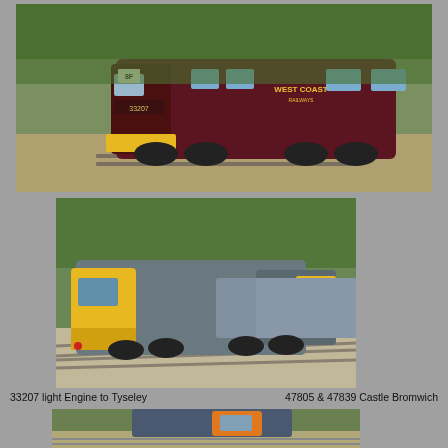[Figure (photo): Diesel locomotive 33207 in maroon West Coast Railways livery with yellow buffer beam, number 8F headcode, on railway tracks with trees in background]
[Figure (photo): Two diesel locomotives 47805 and 47839 in grey/blue livery with yellow fronts, hauling a train on double track railway, trees in background, at Castle Bromwich]
33207 light Engine to Tyseley          47805 & 47839 Castle Bromwich
[Figure (photo): Diesel locomotive partially visible at bottom of page, blue/grey with orange cab ends, on railway tracks]